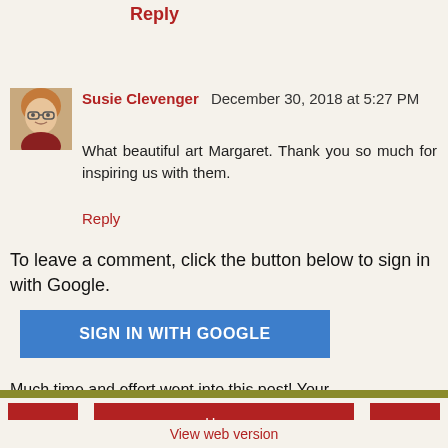Reply
[Figure (photo): Avatar photo of Susie Clevenger, a woman with glasses and reddish-blonde hair]
Susie Clevenger December 30, 2018 at 5:27 PM
What beautiful art Margaret. Thank you so much for inspiring us with them.
Reply
To leave a comment, click the button below to sign in with Google.
SIGN IN WITH GOOGLE
Much time and effort went into this post! Your feedback is appreciated.
‹  Home  ›  View web version